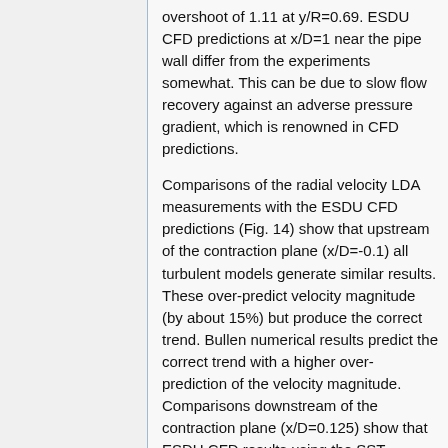overshoot of 1.11 at y/R=0.69. ESDU CFD predictions at x/D=1 near the pipe wall differ from the experiments somewhat. This can be due to slow flow recovery against an adverse pressure gradient, which is renowned in CFD predictions.
Comparisons of the radial velocity LDA measurements with the ESDU CFD predictions (Fig. 14) show that upstream of the contraction plane (x/D=-0.1) all turbulent models generate similar results. These over-predict velocity magnitude (by about 15%) but produce the correct trend. Bullen numerical results predict the correct trend with a higher over-prediction of the velocity magnitude. Comparisons downstream of the contraction plane (x/D=0.125) show that ESDU CFD results using the SST